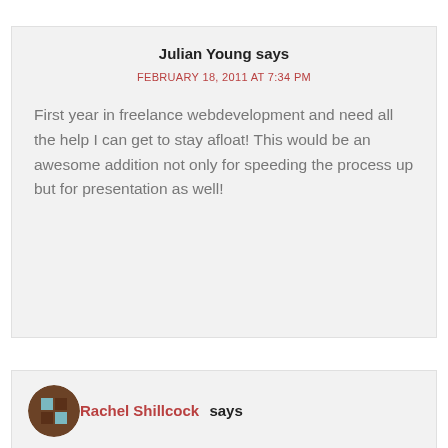Julian Young says
FEBRUARY 18, 2011 AT 7:34 PM
First year in freelance webdevelopment and need all the help I can get to stay afloat! This would be an awesome addition not only for speeding the process up but for presentation as well!
Rachel Shillcock says